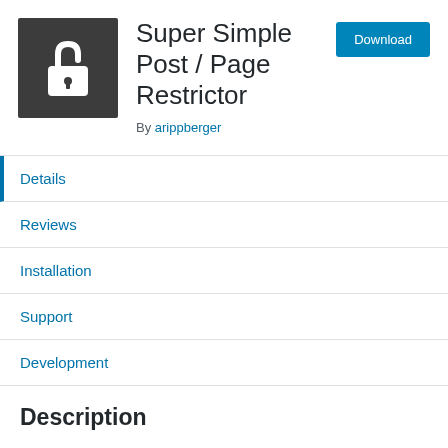[Figure (logo): Dark gray square icon with a white padlock symbol (open shackle lock icon)]
Super Simple Post / Page Restrictor
By arippberger
Download
Details
Reviews
Installation
Support
Development
Description